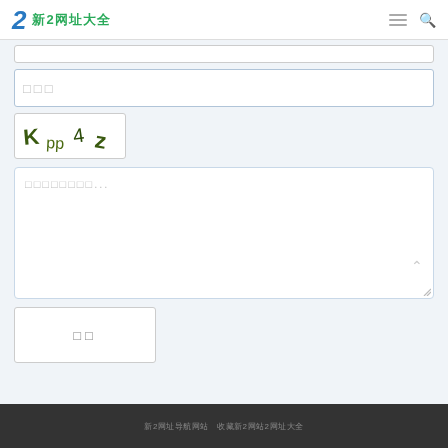新2网址大全
□□□
[Figure (other): CAPTCHA image showing distorted text 'Kpp4z' in dark olive/green color on white background]
□□□□□□□□...
□□
新2网址导航网站  收藏新2网站2网址大全